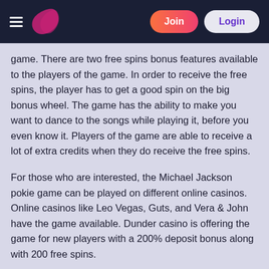Join | Login
game. There are two free spins bonus features available to the players of the game. In order to receive the free spins, the player has to get a good spin on the big bonus wheel. The game has the ability to make you want to dance to the songs while playing it, before you even know it. Players of the game are able to receive a lot of extra credits when they do receive the free spins.
For those who are interested, the Michael Jackson pokie game can be played on different online casinos. Online casinos like Leo Vegas, Guts, and Vera & John have the game available. Dunder casino is offering the game for new players with a 200% deposit bonus along with 200 free spins.
Michael Jackson is considered to be the King of Pop. He is one of the most recognizable celebrities on the